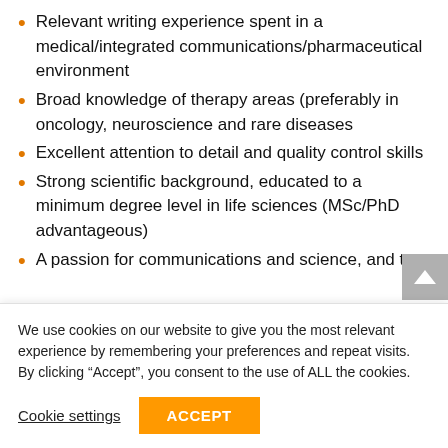Relevant writing experience spent in a medical/integrated communications/pharmaceutical environment
Broad knowledge of therapy areas (preferably in oncology, neuroscience and rare diseases
Excellent attention to detail and quality control skills
Strong scientific background, educated to a minimum degree level in life sciences (MSc/PhD advantageous)
A passion for communications and science, and to
We use cookies on our website to give you the most relevant experience by remembering your preferences and repeat visits. By clicking “Accept”, you consent to the use of ALL the cookies.
Cookie settings   ACCEPT